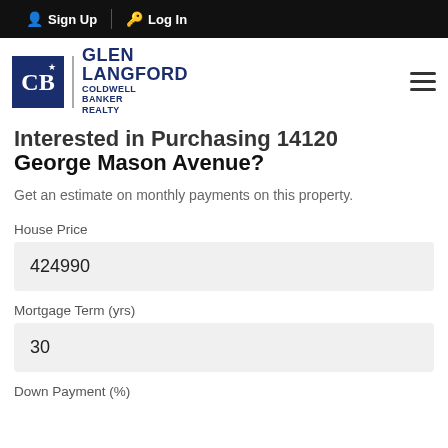Sign Up  Log In
[Figure (logo): Coldwell Banker Realty - Glen Langford logo with dark blue CB emblem and text]
Interested in Purchasing 14120 George Mason Avenue?
Get an estimate on monthly payments on this property.
House Price
424990
Mortgage Term (yrs)
30
Down Payment (%)